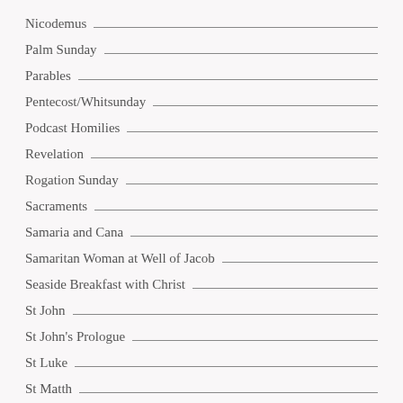Nicodemus
Palm Sunday
Parables
Pentecost/Whitsunday
Podcast Homilies
Revelation
Rogation Sunday
Sacraments
Samaria and Cana
Samaritan Woman at Well of Jacob
Seaside Breakfast with Christ
St John
St John's Prologue
St Luke
St Matth